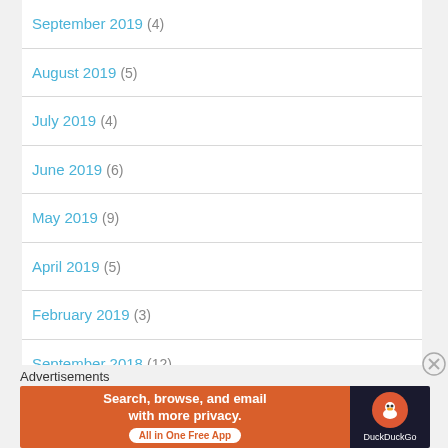September 2019 (4)
August 2019 (5)
July 2019 (4)
June 2019 (6)
May 2019 (9)
April 2019 (5)
February 2019 (3)
September 2018 (12)
August 2018 (8)
July 2018 (4)
Advertisements
[Figure (screenshot): DuckDuckGo advertisement banner: orange background with text 'Search, browse, and email with more privacy. All in One Free App' and DuckDuckGo logo on dark background.]